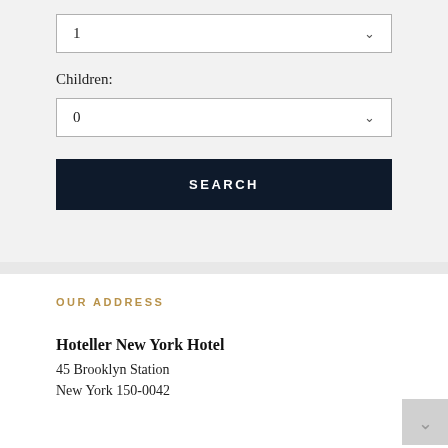1
Children:
0
SEARCH
OUR ADDRESS
Hoteller New York Hotel
45 Brooklyn Station
New York 150-0042